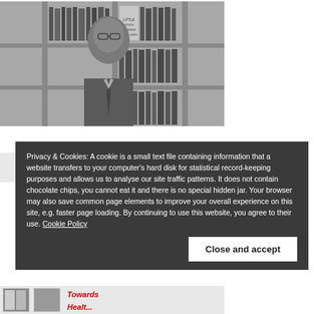[Figure (photo): Black and white photo of an older man wearing glasses and a suit with tie, standing in front of a bookshelf filled with books.]
THERE ARE NO
Privacy & Cookies: A cookie is a small text file containing information that a website transfers to your computer's hard disk for statistical record-keeping purposes and allows us to analyse our site traffic patterns. It does not contain chocolate chips, you cannot eat it and there is no special hidden jar. Your browser may also save common page elements to improve your overall experience on this site, e.g. faster page loading. By continuing to use this website, you agree to their use. Cookie Policy
Close and accept
Towards